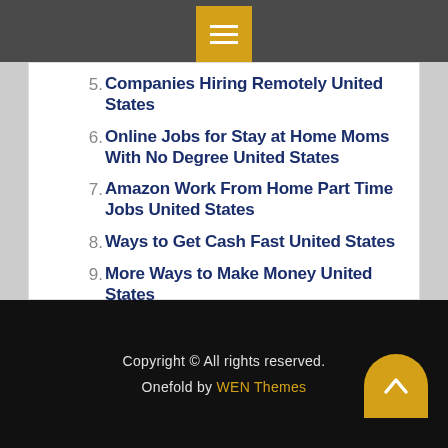5. Companies Hiring Remotely United States
6. Online Jobs for Stay at Home Moms With No Degree United States
7. Amazon Work From Home Part Time Jobs United States
8. Ways to Get Cash Fast United States
9. More Ways to Make Money United States
10. Top Work From Home Companies 2020 United States
Copyright © All rights reserved. Onefold by WEN Themes